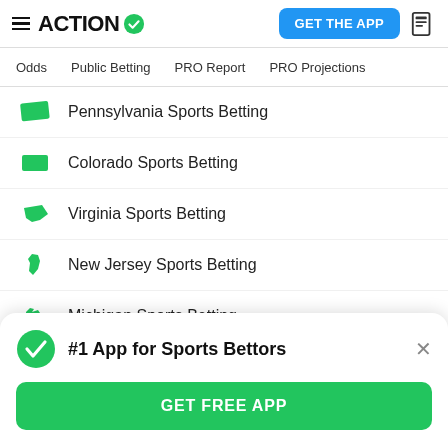ACTION (logo with checkmark) | GET THE APP (button) | news icon
Odds | Public Betting | PRO Report | PRO Projections
Pennsylvania Sports Betting
Colorado Sports Betting
Virginia Sports Betting
New Jersey Sports Betting
Michigan Sports Betting
#1 App for Sports Bettors
GET FREE APP